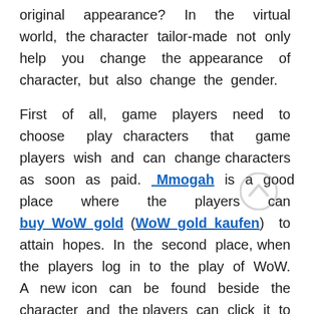original appearance? In the virtual world, the character tailor-made not only help you change the appearance of character, but also change the gender.

First of all, game players need to choose play characters that game players wish and can change characters as soon as paid. Mmogah is a good place where the players can buy WoW gold (WoW gold kaufen) to attain hopes. In the second place, when the players log in to the play of WoW. A new icon can be found beside the character and the players can click it to style your character. What's more, players can change the character appearance including gender except races. Finally, players can admire new characters appearance! The whole